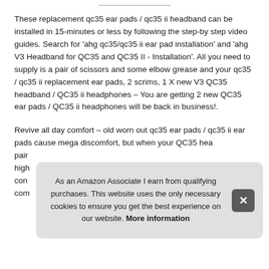These replacement qc35 ear pads / qc35 ii headband can be installed in 15-minutes or less by following the step-by step video guides. Search for 'ahg qc35/qc35 ii ear pad installation' and 'ahg V3 Headband for QC35 and QC35 II - Installation'. All you need to supply is a pair of scissors and some elbow grease and your qc35 / qc35 ii replacement ear pads, 2 scrims, 1 X new V3 QC35 headband / QC35 ii headphones – You are getting 2 new QC35 ear pads / QC35 ii headphones will be back in business!.
Revive all day comfort – old worn out qc35 ear pads / qc35 ii ear pads cause mega discomfort, but when your QC35 hea... pair... high... con... com...
As an Amazon Associate I earn from qualifying purchases. This website uses the only necessary cookies to ensure you get the best experience on our website. More information